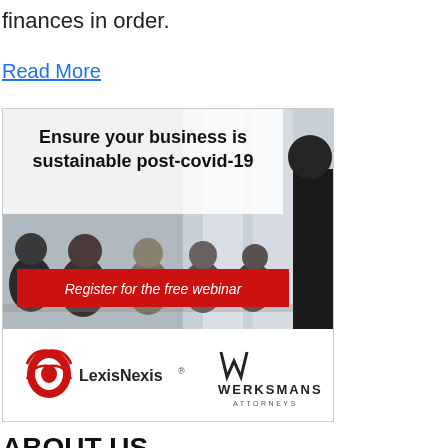finances in order.
Read More
[Figure (photo): Advertisement banner for LexisNexis and Werksmans Attorneys webinar. Headline: 'Ensure your business is sustainable post-covid-19'. Shows business people in a meeting room. Red button reads 'Register for the free webinar'. Logos of LexisNexis and Werksmans Attorneys at the bottom.]
ABOUT US
Overview